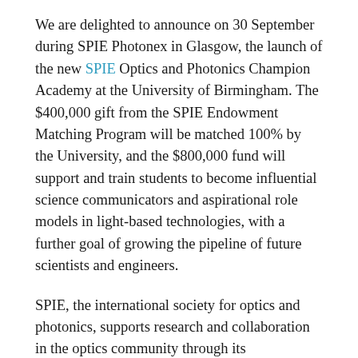We are delighted to announce on 30 September during SPIE Photonex in Glasgow, the launch of the new SPIE Optics and Photonics Champion Academy at the University of Birmingham. The $400,000 gift from the SPIE Endowment Matching Program will be matched 100% by the University, and the $800,000 fund will support and train students to become influential science communicators and aspirational role models in light-based technologies, with a further goal of growing the pipeline of future scientists and engineers.
SPIE, the international society for optics and photonics, supports research and collaboration in the optics community through its publications, its membership program, and its 20+ annual conferences and exhibitions across the globe. The Society's numerous programs and services promote the development and commercialization of light-based technologies, from biomedical optics for imaging, diagnostics, and treatment, to fibre optic cables